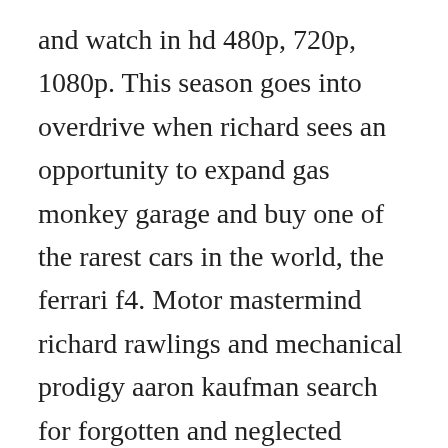and watch in hd 480p, 720p, 1080p. This season goes into overdrive when richard sees an opportunity to expand gas monkey garage and buy one of the rarest cars in the world, the ferrari f4. Motor mastermind richard rawlings and mechanical prodigy aaron kaufman search for forgotten and neglected vintage cars. What begins as a simple build quickly grows into a grand green machine. Fast n loud 2012 tt2346169 motor mastermind richard rawlings and mechanical prodigy aaron kaufman of gas monkey garage search for derelict classic cars. But with only days left until delivery, richard